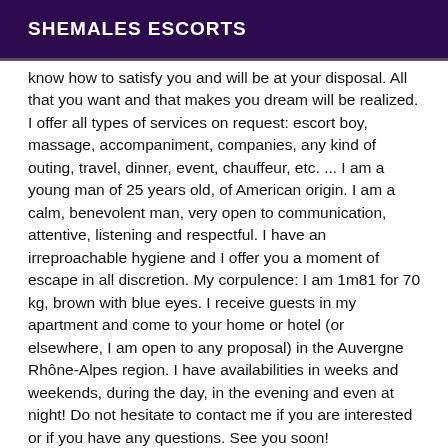SHEMALES ESCORTS
know how to satisfy you and will be at your disposal. All that you want and that makes you dream will be realized. I offer all types of services on request: escort boy, massage, accompaniment, companies, any kind of outing, travel, dinner, event, chauffeur, etc. ... I am a young man of 25 years old, of American origin. I am a calm, benevolent man, very open to communication, attentive, listening and respectful. I have an irreproachable hygiene and I offer you a moment of escape in all discretion. My corpulence: I am 1m81 for 70 kg, brown with blue eyes. I receive guests in my apartment and come to your home or hotel (or elsewhere, I am open to any proposal) in the Auvergne Rhône-Alpes region. I have availabilities in weeks and weekends, during the day, in the evening and even at night! Do not hesitate to contact me if you are interested or if you have any questions. See you soon!